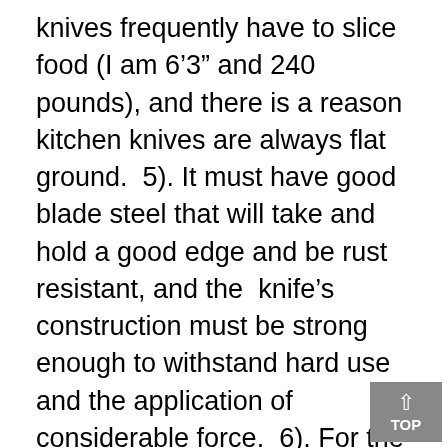knives frequently have to slice food (I am 6'3" and 240 pounds), and there is a reason kitchen knives are always flat ground.  5). It must have good blade steel that will take and hold a good edge and be rust resistant, and the  knife's construction must be strong enough to withstand hard use and the application of considerable force.  6). For the reasons set forth in my separate review of the A.G. Russell Medium Lockback Barlow, it must have a nicely finished deep pocket clip and also help to fulfill the need for art in my life.  I am 74 years old and have been
[Figure (other): A 'TOP' scroll-to-top button overlay in the bottom-right corner, grey background with white upward arrow and 'TOP' text]